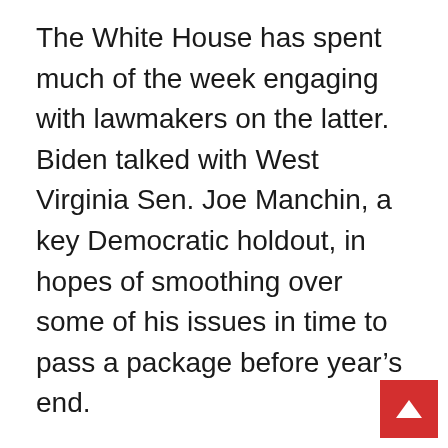The White House has spent much of the week engaging with lawmakers on the latter. Biden talked with West Virginia Sen. Joe Manchin, a key Democratic holdout, in hopes of smoothing over some of his issues in time to pass a package before year's end.
Five tornadoes hit Kentucky, including one with an extraordinarily long path of about 200 miles (322 kilometers), authorities said.